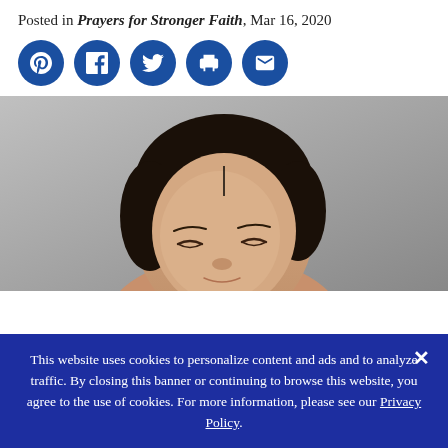Posted in Prayers for Stronger Faith, Mar 16, 2020
[Figure (other): Row of five social sharing icon buttons (Pinterest, Facebook, Twitter, Print, Email) as blue circles with white icons]
[Figure (photo): Close-up photo of a young woman with dark hair, eyes closed, appearing to be in prayer or meditation, against a grey background]
This website uses cookies to personalize content and ads and to analyze traffic. By closing this banner or continuing to browse this website, you agree to the use of cookies. For more information, please see our Privacy Policy.